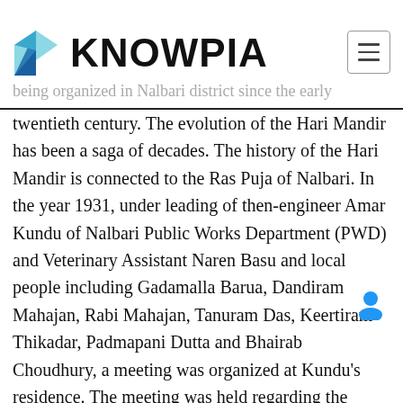KNOWPIA
being organized in Nalbari district since the early twentieth century. The evolution of the Hari Mandir has been a saga of decades. The history of the Hari Mandir is connected to the Ras Puja of Nalbari. In the year 1931, under leading of then-engineer Amar Kundu of Nalbari Public Works Department (PWD) and Veterinary Assistant Naren Basu and local people including Gadamalla Barua, Dandiram Mahajan, Rabi Mahajan, Tanuram Das, Keertiram Thikadar, Padmapani Dutta and Bhairab Choudhury, a meeting was organized at Kundu's residence. The meeting was held regarding the organization of Ras Puja at Nalbari. Though they were unable to organize Ras Puja the same year, the next year they were able organize the Puja in some available space at Kundu's official residence. In 1933, the Ras Puja Committee